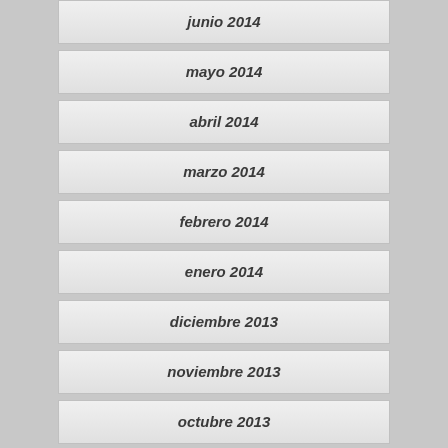junio 2014
mayo 2014
abril 2014
marzo 2014
febrero 2014
enero 2014
diciembre 2013
noviembre 2013
octubre 2013
septiembre 2013
agosto 2013
julio 2013